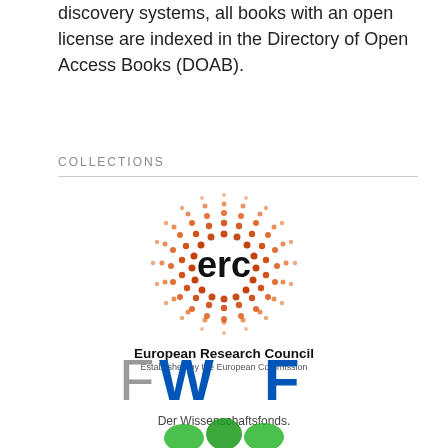discovery systems, all books with an open license are indexed in the Directory of Open Access Books (DOAB).
COLLECTIONS
[Figure (logo): European Research Council (ERC) logo — circular dot pattern in orange with 'erc' in black bold text at center, below which reads 'European Research Council' in bold and 'Established by the European Commission' in small text]
[Figure (logo): FWF — Der Wissenschaftsfonds logo. 'F' in gray, 'WF' in blue bold, with tagline 'Der Wissenschaftsfonds.' below in gray]